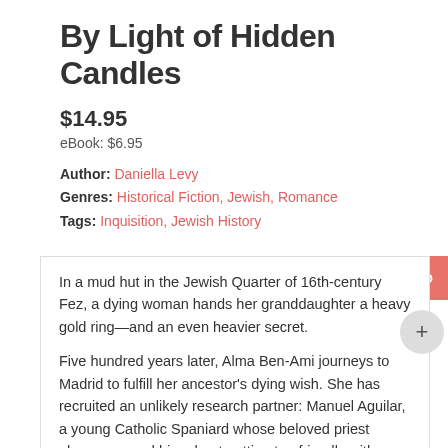By Light of Hidden Candles
$14.95
eBook: $6.95
Author: Daniella Levy
Genres: Historical Fiction, Jewish, Romance
Tags: Inquisition, Jewish History
In a mud hut in the Jewish Quarter of 16th-century Fez, a dying woman hands her granddaughter a heavy gold ring—and an even heavier secret.

Five hundred years later, Alma Ben-Ami journeys to Madrid to fulfill her ancestor's dying wish. She has recruited an unlikely research partner: Manuel Aguilar, a young Catholic Spaniard whose beloved priest always warned him about getting too friendly with Jews. As their quest takes them from Greenwich Village to the windswept mountain fortresses of southern Spain,